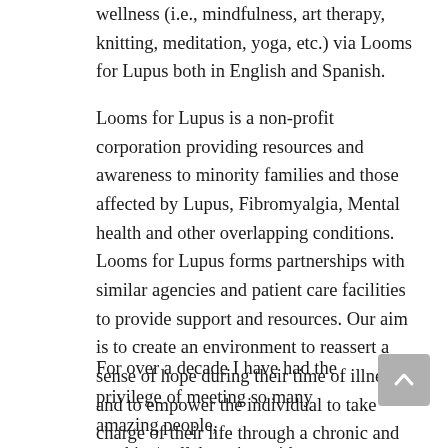wellness (i.e., mindfulness, art therapy, knitting, meditation, yoga, etc.) via Looms for Lupus both in English and Spanish.
Looms for Lupus is a non-profit corporation providing resources and awareness to minority families and those affected by Lupus, Fibromyalgia, Mental health and other overlapping conditions. Looms for Lupus forms partnerships with similar agencies and patient care facilities to provide support and resources. Our aim is to create an environment to reassert a sense of hope during their time of illness and to empower the individual to take charge of their life through a chronic and often life-threatening illness.
For over a decade I have had the privilege of meeting so many amazing people, working\collaborating with many local, national,